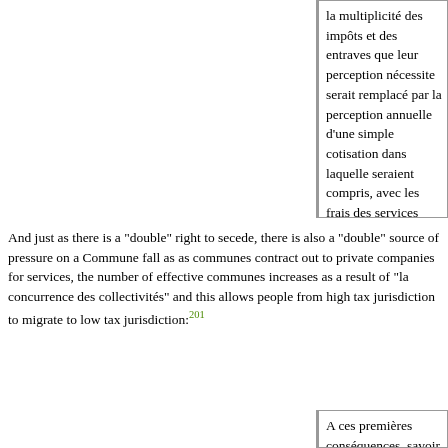la multiplicité des impôts et des entraves que leur perception nécessite serait remplacé par la perception annuelle d'une simple cotisation dans laquelle seraient compris, avec les frais des services communaux, ceux de la province et de la commune, divisés et spécialisés.
And just as there is a "double" right to secede, there is also a "double" source of pressure on a Commune fall as as communes contract out to private companies for services, the number of effective communes increases as a result of "la concurrence des collectivités" and this allows people from high tax jurisdiction to migrate to low tax jurisdiction:201
A ces premières conséquences, savoir la réduction des attributions de la commune, de la province et de l'Etat aux services naturellement collectifs, et la suppression des impôts qui frappent, également en vertu de leur nature particulière, la généralité de la population d'un territoire, sans qu'il soit possible de s'y soustraire individuellement, tels que les monopoles, les douanes, s'en joindraient d'autres, non moins avantageuses aux consommateurs de services collectifs. Ces services, les collectivités de consommateurs ne se chargeraient point nécessairement de les produire elles-mêmes. Déjà, dans les pays où l'industrie et l'esprit d'entreprise sont suffisamment développés, les gouvernements municipaux ne se chargent pas eux-mêmes du service des eaux, de l'éclairage au gaz, de l'établissement des tramways. Ils trouvent plus d'économie à les confier à des entreprises spéciales. Ce qui est avantageux pour certains services communaux pourrait l'être en vertu du même principe pour les services de la province et de l'Etat, notamment pour le service essentiel de la sécurité intérieure et extérieure. Cela étant, les consommateurs de ces services